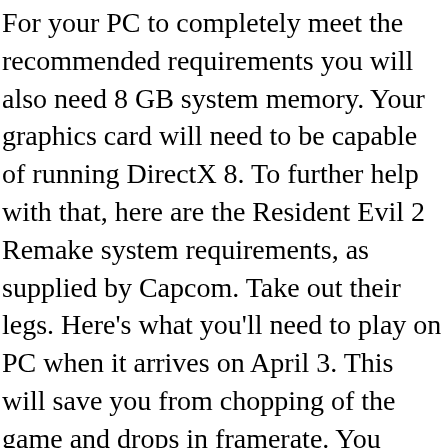For your PC to completely meet the recommended requirements you will also need 8 GB system memory. Your graphics card will need to be capable of running DirectX 8. To further help with that, here are the Resident Evil 2 Remake system requirements, as supplied by Capcom. Take out their legs. Here's what you'll need to play on PC when it arrives on April 3. This will save you from chopping of the game and drops in framerate. You aren't going to need a high-end machine for this, unlike the system requirements that were revealed for The Witcher 3 earlier in the week, but then this